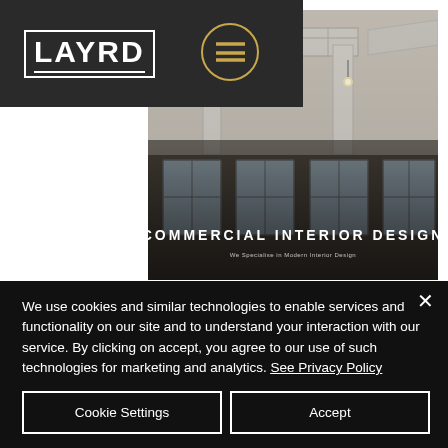[Figure (logo): LAYRD logo in white text with border on dark gray background, with hamburger menu icon in gold circle top right]
[Figure (photo): Commercial interior photo showing industrial ceiling with HVAC ducts and building facade with windows, overlaid with text 'COMMERCIAL INTERIOR DESIGN']
COMMERCIAL INTERIOR DESIGN
We use cookies and similar technologies to enable services and functionality on our site and to understand your interaction with our service. By clicking on accept, you agree to our use of such technologies for marketing and analytics. See Privacy Policy
Cookie Settings
Accept